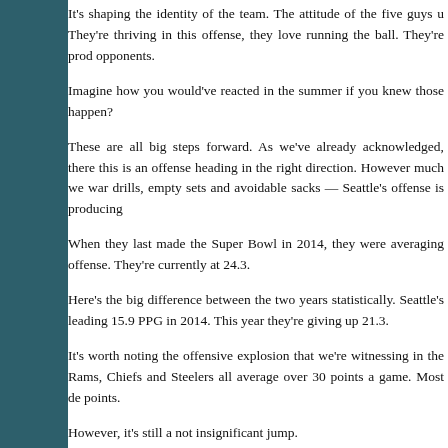It's shaping the identity of the team. The attitude of the five guys u... They're thriving in this offense, they love running the ball. They're prod... opponents.
Imagine how you would've reacted in the summer if you knew those happen?
These are all big steps forward. As we've already acknowledged, there this is an offense heading in the right direction. However much we war drills, empty sets and avoidable sacks — Seattle's offense is producing
When they last made the Super Bowl in 2014, they were averaging offense. They're currently at 24.3.
Here's the big difference between the two years statistically. Seattle's leading 15.9 PPG in 2014. This year they're giving up 21.3.
It's worth noting the offensive explosion that we're witnessing in the Rams, Chiefs and Steelers all average over 30 points a game. Most de points.
However, it's still a not insignificant jump.
Seattle's defense has played valiantly this season. Let's not forget, t